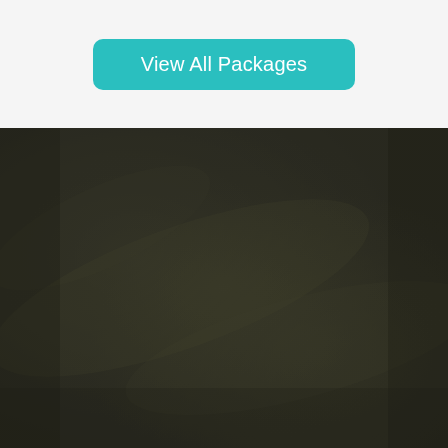[Figure (other): Teal/turquoise rounded rectangle button with white text 'View All Packages' on a light gray background]
[Figure (photo): Dark olive/brown textured background, possibly aerial or abstract photography with mottled dark green-brown tones and subtle lighter streaks]